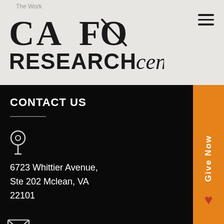The Work
[Figure (logo): CAFO RESEARCH center logo with stylized script]
CONTACT US
6723 Whittier Avenue,
Ste 202 Mclean, VA
22101
info@cafo.org
GIVE TODAY
All CAFO administration is covered by sponsors, so 100% of your